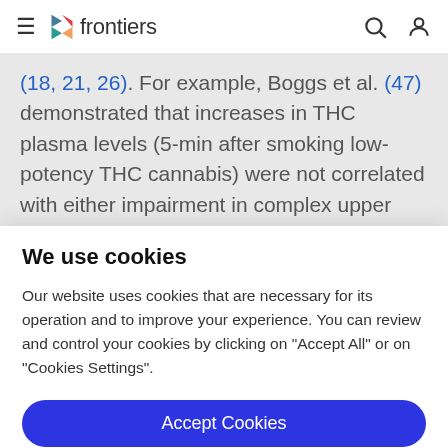frontiers
(18, 21, 26). For example, Boggs et al. (47) demonstrated that increases in THC plasma levels (5-min after smoking low-potency THC cannabis) were not correlated with either impairment in complex upper and lower limb psychomotor measures, or with subjective intoxication
We use cookies
Our website uses cookies that are necessary for its operation and to improve your experience. You can review and control your cookies by clicking on "Accept All" or on "Cookies Settings".
Accept Cookies
Cookies Settings